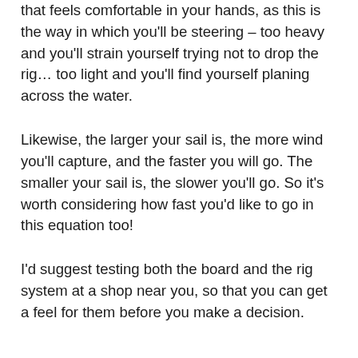that feels comfortable in your hands, as this is the way in which you'll be steering – too heavy and you'll strain yourself trying not to drop the rig… too light and you'll find yourself planing across the water.
Likewise, the larger your sail is, the more wind you'll capture, and the faster you will go. The smaller your sail is, the slower you'll go. So it's worth considering how fast you'd like to go in this equation too!
I'd suggest testing both the board and the rig system at a shop near you, so that you can get a feel for them before you make a decision.